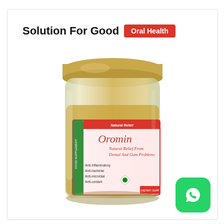Solution For Good Oral Health
[Figure (photo): A glass jar of Oromin food supplement with a gold lid. The label reads 'Oromin – Natural Relief From Dental And Gum Problems' with a photo of a smiling woman. Sub-labels: anti-inflammatory, anti-bacterial, anti-microbial, anti-oxidant. Marked as Dietary Supplement and Food Supplement.]
[Figure (logo): WhatsApp logo icon in a green rounded square button, bottom right corner.]